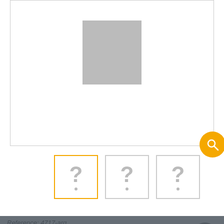[Figure (screenshot): Product image area with gray placeholder image, zoom button (yellow circle with magnifying glass), three thumbnail placeholders (question marks) below, partially visible product reference and condition text. Overlaid with a cookie consent notice: 'If you continue to browse this website, you accept third-party cookies and the use of tracking technologies.' with 'My preferences' link and OK / ALLOW ALL buttons.]
If you continue to browse this website, you accept third-party cookies and the use of tracking technologies.
Reference: 4717-arg
Condition: New product
This product is no longer in stock
My preferences